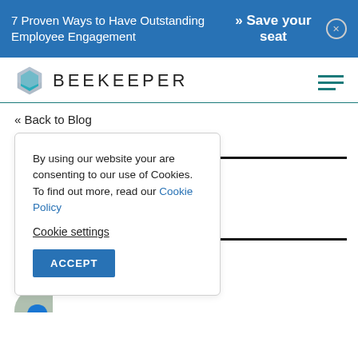7 Proven Ways to Have Outstanding Employee Engagement » Save your seat
[Figure (logo): Beekeeper hexagon logo with brand name BEEKEEPER]
« Back to Blog
By using our website your are consenting to our use of Cookies. To find out more, read our Cookie Policy
Cookie settings
ACCEPT
nternal
nunication Is